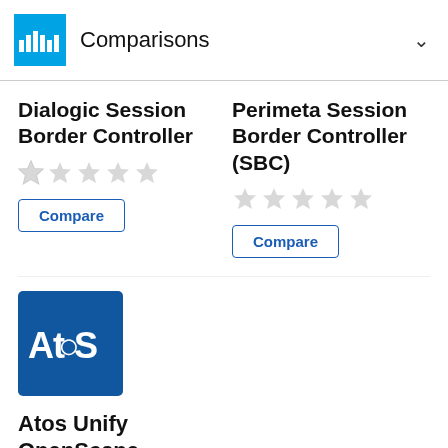Comparisons
Dialogic Session Border Controller
[Figure (other): 5-star rating (empty/grey stars) for Dialogic Session Border Controller]
Compare
Perimeta Session Border Controller (SBC)
[Figure (other): 5-star rating (empty/grey stars) for Perimeta Session Border Controller]
Compare
[Figure (logo): Atos logo — blue square with white 'Atos' text]
Atos Unify OpenScape Session Border Controller
[Figure (other): 5-star rating (empty/grey stars) for Atos Unify OpenScape Session Border Controller]